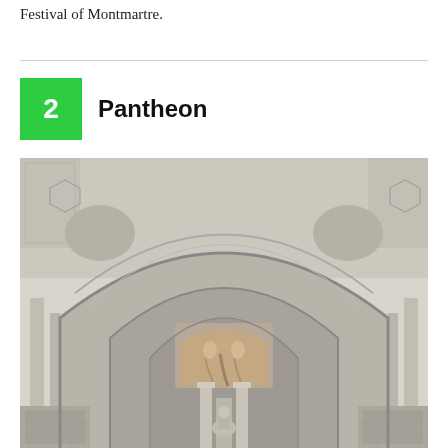Festival of Montmartre.
2  Pantheon
[Figure (photo): Interior of the Pantheon in Paris, showing grand marble arches, ornate decorated vaulted ceilings, and a fresco visible through the central arch at the far end. The architectural details include classical columns and elaborate stone carvings.]